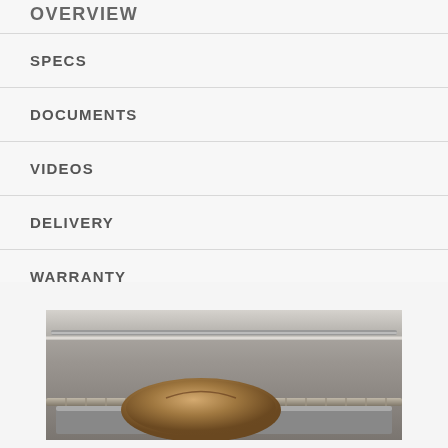OVERVIEW
SPECS
DOCUMENTS
VIDEOS
DELIVERY
WARRANTY
REVIEWS (150)
[Figure (photo): Close-up photo of a bread loaf inside a stainless steel oven with rack, showing oven interior with ceiling element and baking tray]